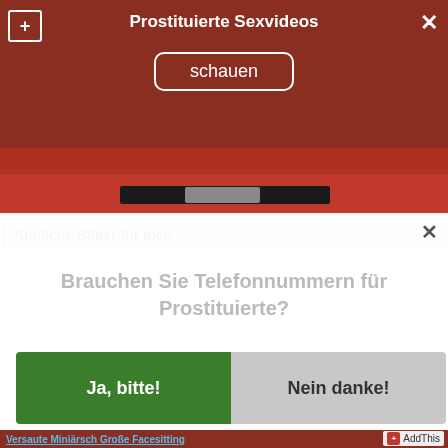Prostituierte Sexvideos
schauen
[Figure (photo): Partial view of a person wearing a red outfit with a dark belt]
Ähnliche Bilder für dich
Brauchen Sie Telefonnummern für Prostituierte?
Ja, bitte!
Nein danke!
Versaute Miniärsch Große Facesitting
AddThis